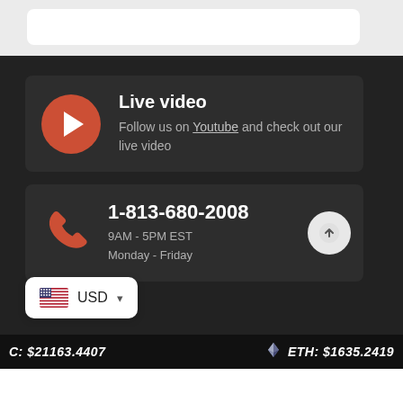[Figure (screenshot): Top white bar with rounded white card element on gray background]
Live video
Follow us on Youtube and check out our live video
1-813-680-2008
9AM - 5PM EST
Monday - Friday
[Figure (infographic): USD currency selector widget with US flag]
C: $21163.4407   ETH: $1635.2419